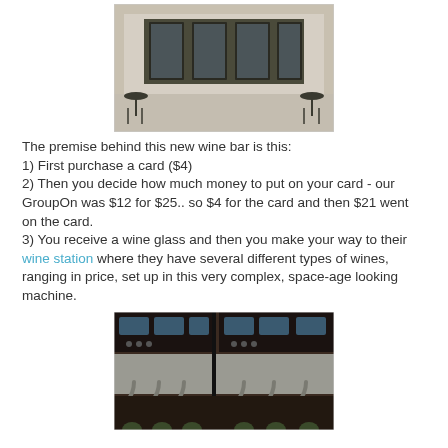[Figure (photo): Exterior of a wine bar storefront with glass doors and outdoor seating with small round tables and chairs]
The premise behind this new wine bar is this:
1) First purchase a card ($4)
2) Then you decide how much money to put on your card - our GroupOn was $12 for $25.. so $4 for the card and then $21 went on the card.
3) You receive a wine glass and then you make your way to their wine station where they have several different types of wines, ranging in price, set up in this very complex, space-age looking machine.
[Figure (photo): Interior photo of a wine dispensing machine with multiple stainless steel spigots and digital displays]